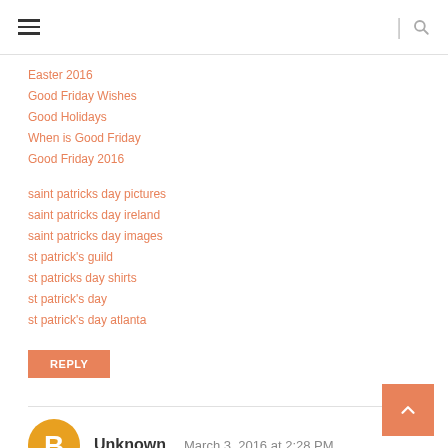Navigation header with hamburger menu and search icon
Easter 2016
Good Friday Wishes
Good Holidays
When is Good Friday
Good Friday 2016
saint patricks day pictures
saint patricks day ireland
saint patricks day images
st patrick's guild
st patricks day shirts
st patrick's day
st patrick's day atlanta
REPLY
Unknown
March 3, 2016 at 2:28 PM
Passover 2016
Passover Food List
History of Passover in Bible
Passover Greeting Cards
Passover Images